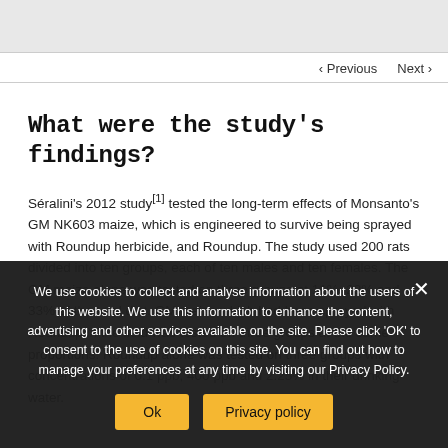◄ Previous   Next ►
What were the study's findings?
Séralini's 2012 study[1] tested the long-term effects of Monsanto's GM NK603 maize, which is engineered to survive being sprayed with Roundup herbicide, and Roundup. The study used 200 rats divided into ten groups, each of ten males and ten females. The GM maize alone was tested on three groups at 11%, 22% and 33% of the total diet. GM maize which had been sprayed with Roundup in the field was tested on three groups at the same proportions. Roundup alone was tested on three groups with concentrations of 0.1 ppb, 400 ppb and 2.25% in their drinking water.
We use cookies to collect and analyse information about the users of this website. We use this information to enhance the content, advertising and other services available on the site. Please click 'OK' to consent to the use of cookies on this site. You can find out how to manage your preferences at any time by visiting our Privacy Policy.